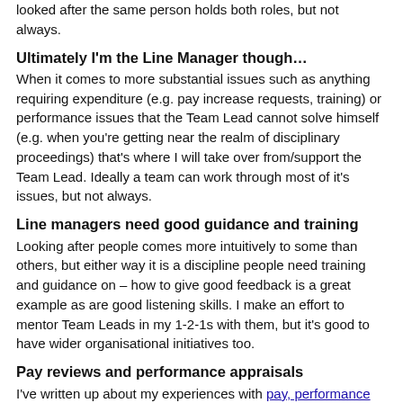looked after the same person holds both roles, but not always.
Ultimately I'm the Line Manager though…
When it comes to more substantial issues such as anything requiring expenditure (e.g. pay increase requests, training) or performance issues that the Team Lead cannot solve himself (e.g. when you're getting near the realm of disciplinary proceedings) that's where I will take over from/support the Team Lead. Ideally a team can work through most of it's issues, but not always.
Line managers need good guidance and training
Looking after people comes more intuitively to some than others, but either way it is a discipline people need training and guidance on – how to give good feedback is a great example as are good listening skills. I make an effort to mentor Team Leads in my 1-2-1s with them, but it's good to have wider organisational initiatives too.
Pay reviews and performance appraisals
I've written up about my experiences with pay, performance and feedback previously. I consider regular 1-2-1s (with Team Lead and myself) to take the place of annual performance appraisals. However most companies still do pay reviews annually, which means some form of annual pay review meeting is required. As